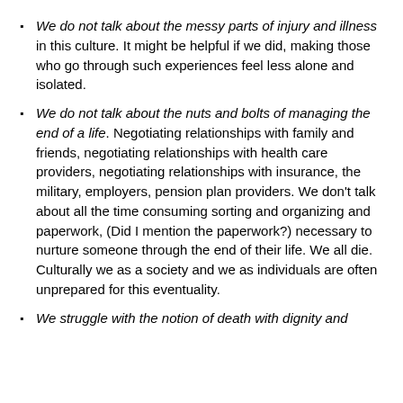We do not talk about the messy parts of injury and illness in this culture. It might be helpful if we did, making those who go through such experiences feel less alone and isolated.
We do not talk about the nuts and bolts of managing the end of a life. Negotiating relationships with family and friends, negotiating relationships with health care providers, negotiating relationships with insurance, the military, employers, pension plan providers. We don't talk about all the time consuming sorting and organizing and paperwork, (Did I mention the paperwork?) necessary to nurture someone through the end of their life. We all die. Culturally we as a society and we as individuals are often unprepared for this eventuality.
We struggle with the notion of death with dignity and...